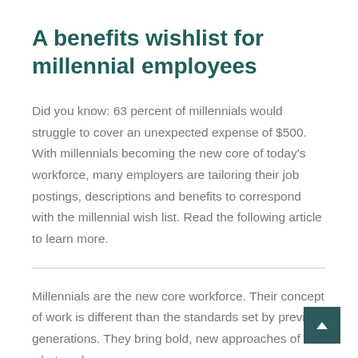A benefits wishlist for millennial employees
Did you know: 63 percent of millennials would struggle to cover an unexpected expense of $500. With millennials becoming the new core of today's workforce, many employers are tailoring their job postings, descriptions and benefits to correspond with the millennial wish list. Read the following article to learn more.
Millennials are the new core workforce. Their concept of work is different than the standards set by previous generations. They bring bold, new approaches of what work